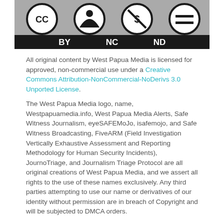[Figure (illustration): Creative Commons BY NC ND license badge — gray background with four circular icons (CC, person, dollar-sign-crossed, equals-sign) and text BY NC ND in white below]
All original content by West Papua Media is licensed for approved, non-commercial use under a Creative Commons Attribution-NonCommercial-NoDerivs 3.0 Unported License.
The West Papua Media logo, name, Westpapuamedia.info, West Papua Media Alerts, Safe Witness Journalism, eyeSAFEMoJo, isafemojo, and Safe Witness Broadcasting, FiveARM (Field Investigation Vertically Exhaustive Assessment and Reporting Methodology for Human Security Incidents), JournoTriage, and Journalism Triage Protocol are all original creations of West Papua Media, and we assert all rights to the use of these names exclusively. Any third parties attempting to use our name or derivatives of our identity without permission are in breach of Copyright and will be subjected to DMCA orders.